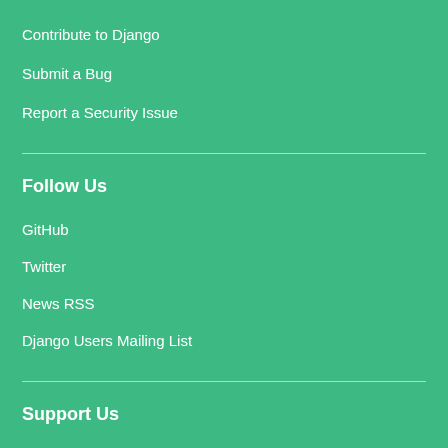Contribute to Django
Submit a Bug
Report a Security Issue
Follow Us
GitHub
Twitter
News RSS
Django Users Mailing List
Support Us